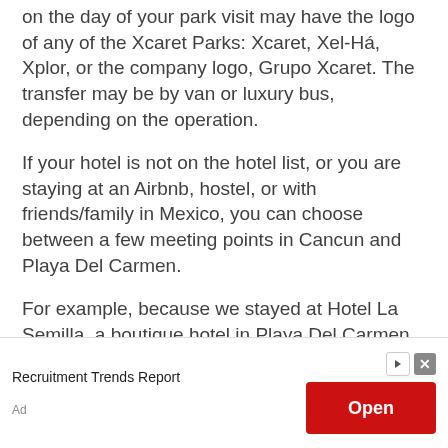on the day of your park visit may have the logo of any of the Xcaret Parks: Xcaret, Xel-Há, Xplor, or the company logo, Grupo Xcaret. The transfer may be by van or luxury bus, depending on the operation.
If your hotel is not on the hotel list, or you are staying at an Airbnb, hostel, or with friends/family in Mexico, you can choose between a few meeting points in Cancun and Playa Del Carmen.
For example, because we stayed at Hotel La Semilla, a boutique hotel in Playa Del Carmen (it is not on the resort hotel)...
[Figure (other): Advertisement banner: Recruitment Trends Report with an Open button in red and ad close/navigate icons]